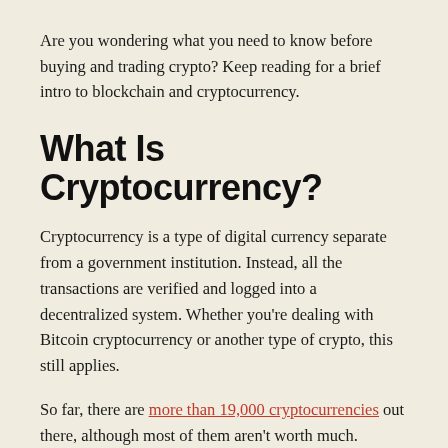Are you wondering what you need to know before buying and trading crypto? Keep reading for a brief intro to blockchain and cryptocurrency.
What Is Cryptocurrency?
Cryptocurrency is a type of digital currency separate from a government institution. Instead, all the transactions are verified and logged into a decentralized system. Whether you're dealing with Bitcoin cryptocurrency or another type of crypto, this still applies.
So far, there are more than 19,000 cryptocurrencies out there, although most of them aren't worth much.
If you want to start buying or selling crypto, then you'll